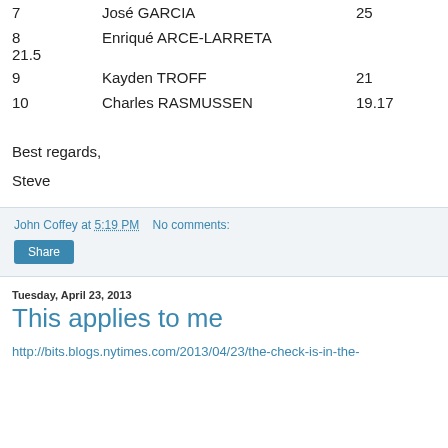7   José GARCIA   25
8   Enriqué ARCE-LARRETA   21.5
9   Kayden TROFF   21
10   Charles RASMUSSEN   19.17
Best regards,
Steve
John Coffey at 5:19 PM   No comments:
Share
Tuesday, April 23, 2013
This applies to me
http://bits.blogs.nytimes.com/2013/04/23/the-check-is-in-the-